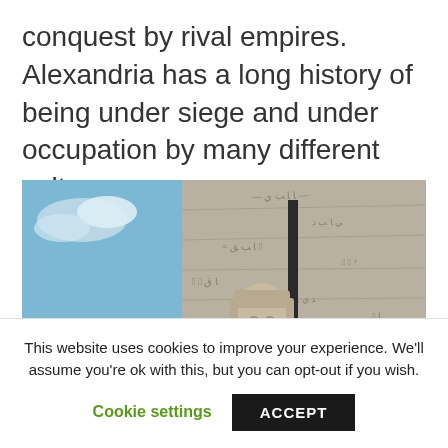conquest by rival empires. Alexandria has a long history of being under siege and under occupation by many different cultures.
[Figure (photo): Photograph of an ancient Egyptian sphinx statue beside a large stone wall engraved with hieroglyphics and script, with a modern glass building visible in the background under a blue sky.]
This website uses cookies to improve your experience. We'll assume you're ok with this, but you can opt-out if you wish.
Cookie settings  ACCEPT